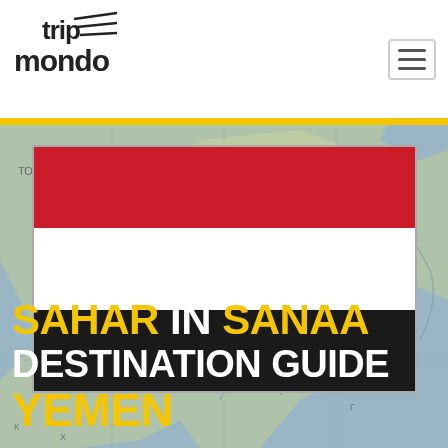[Figure (logo): Trip Mondo logo with stylized text and airplane graphic]
[Figure (illustration): Yemen flag: three horizontal stripes — red, white, black]
[Figure (map): Background map in muted blue-grey tones showing a geographic region with Cyrillic text labels, used as a page backdrop]
SAHAR IN SANAA DESTINATION GUIDE YEMEN